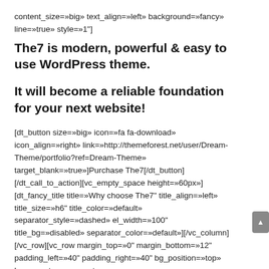content_size=»big» text_align=»left» background=»fancy» line=»true» style=»1"]
The7 is modern, powerful & easy to use WordPress theme.
It will become a reliable foundation for your next website!
[dt_button size=»big» icon=»fa fa-download» icon_align=»right» link=»http://themeforest.net/user/Dream-Theme/portfolio?ref=Dream-Theme» target_blank=»true»]Purchase The7[/dt_button][/dt_call_to_action][vc_empty_space height=»60px»][dt_fancy_title title=»Why choose The7" title_align=»left» title_size=»h6" title_color=»default» separator_style=»dashed» el_width=»100" title_bg=»disabled» separator_color=»default»][/vc_column][/vc_row][vc_row margin_top=»0" margin_bottom=»12" padding_left=»40" padding_right=»40" bg_position=»top» bg_repeat=»no-repeat»